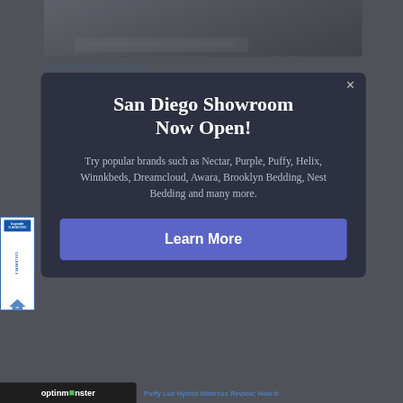[Figure (screenshot): Background website page showing a mattress showroom photo at top, 'Visit Our Showroom' heading in blue, and partial page content. A BuySafe Guaranteed badge appears at bottom left. An OptinMonster bar is visible at the very bottom.]
San Diego Showroom Now Open!
Try popular brands such as Nectar, Purple, Puffy, Helix, Winnkbeds, Dreamcloud, Awara, Brooklyn Bedding, Nest Bedding and many more.
Learn More